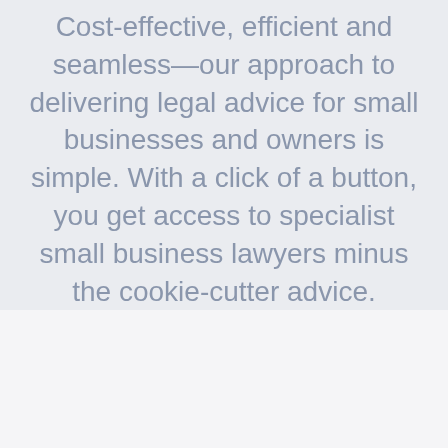Cost-effective, efficient and seamless—our approach to delivering legal advice for small businesses and owners is simple. With a click of a button, you get access to specialist small business lawyers minus the cookie-cutter advice.